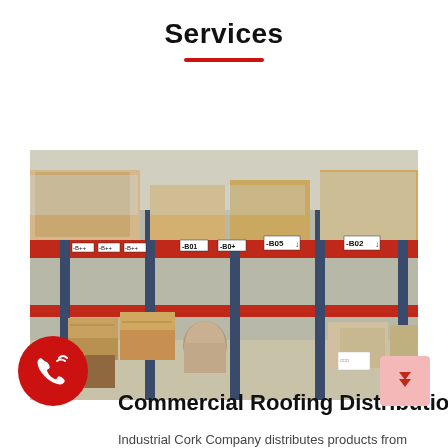Services
[Figure (photo): Interior of a warehouse with red metal shelving racks holding pallets of boxed goods. Shelf labels visible including -B05 and -B02. Cardboard boxes stacked on pallets on the floor below the racks.]
Commercial Roofing Distribution
Industrial Cork Company distributes products from